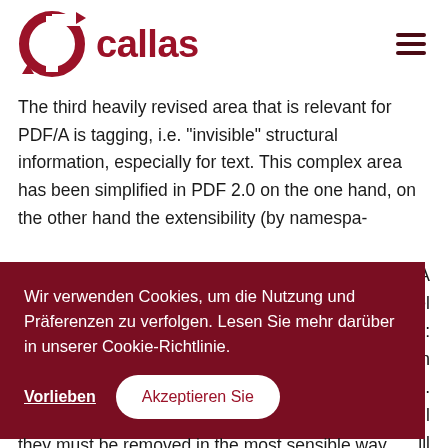[Figure (logo): Callas software logo with red circular C icon and 'callas' text in dark red]
The third heavily revised area that is relevant for PDF/A is tagging, i.e. "invisible" structural information, especially for text. This complex area has been simplified in PDF 2.0 on the one hand, on the other hand the extensibility (by namespa-
[Figure (screenshot): Cookie consent overlay in dark red/maroon background with German text: 'Wir verwenden Cookies, um die Nutzung und Präferenzen zu verfolgen. Lesen Sie mehr darüber in unserer Cookie-Richtlinie.' with buttons 'Vorlieben' and 'Akzeptieren Sie']
they must be removed in the most sensible way possible